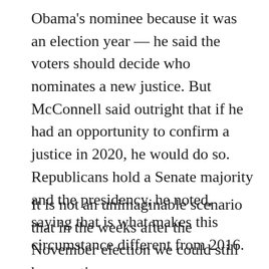Obama's nominee because it was an election year — he said the voters should decide who nominates a new justice. But McConnell said outright that if he had an opportunity to confirm a justice in 2020, he would do so. Republicans hold a Senate majority and the presidency, he noted, saying that is what makes this circumstance different from 2016.
It is not an unimaginable scenario that in the weeks after the November election we could still be counting